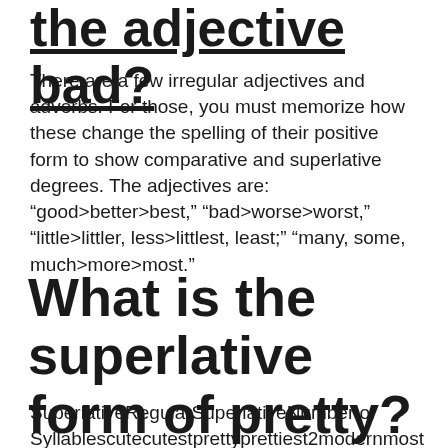the adjective bad?
There are a few irregular adjectives and adverbs. For those, you must memorize how these change the spelling of their positive form to show comparative and superlative degrees. The adjectives are: “good>better>best,” “bad>worse>worst,” “little>littler, less>littlest, least;” “many, some, much>more>most.”
What is the superlative form of pretty?
SuperlativeRegularSuperlativeNumber of Syllablescutecutestprettyprettiestmodernmostmodernbeautifulmost beautiful3